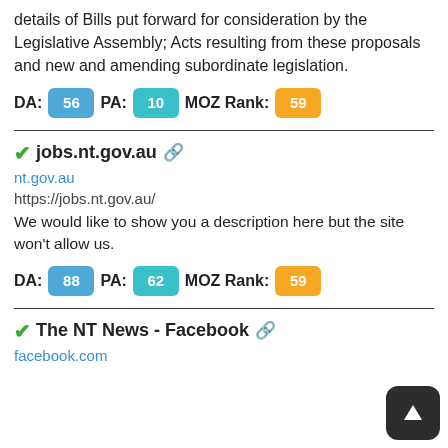details of Bills put forward for consideration by the Legislative Assembly; Acts resulting from these proposals and new and amending subordinate legislation.
DA: 56  PA: 10  MOZ Rank: 59
✓jobs.nt.gov.au 🔗
nt.gov.au
https://jobs.nt.gov.au/
We would like to show you a description here but the site won't allow us.
DA: 88  PA: 62  MOZ Rank: 59
✓The NT News - Facebook 🔗
facebook.com